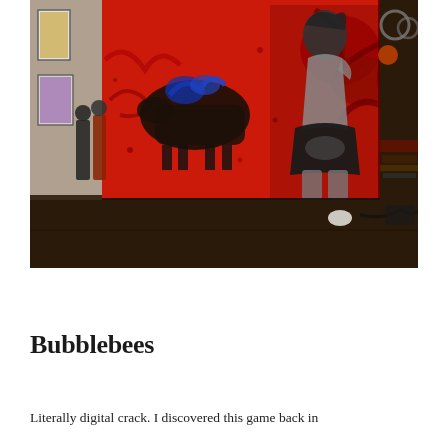[Figure (photo): Indoor art studio scene with a large painting on canvas showing a black-and-white female figure against a vivid red background with abstract swirling patterns and a dark animal figure (possibly a bull or horse with blue accents). The painting is propped against a wall. To the left are smaller framed artworks and two human silhouette cutouts. The floor is dark/concrete. At the right edge is studio clutter including stacks of materials.]
Bubblebees
Literally digital crack. I discovered this game back in